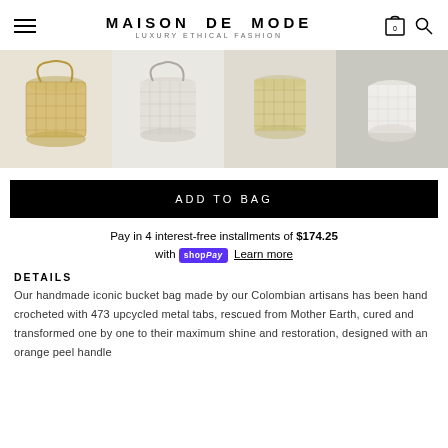MAISON DE MODE — LUXURY ETHICAL FASHION
[Figure (photo): Four product images of handmade bucket bags: gold mesh, pearl/cream mesh, woven natural, and white sculptural style, displayed in a horizontal strip.]
ADD TO BAG
Pay in 4 interest-free installments of $174.25 with shopPay Learn more
DETAILS
Our handmade iconic bucket bag made by our Colombian artisans has been hand crocheted with 473 upcycled metal tabs, rescued from Mother Earth, cured and transformed one by one to their maximum shine and restoration, designed with an orange peel handle